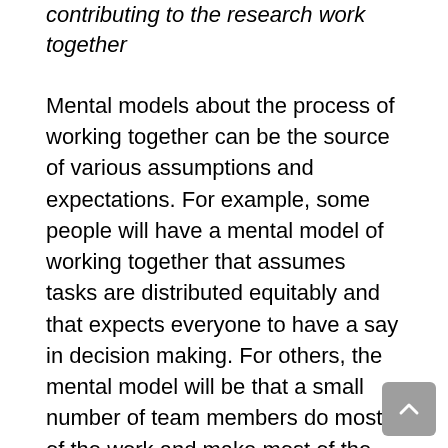Differences in mental models and how well those contributing to the research work together
Mental models about the process of working together can be the source of various assumptions and expectations. For example, some people will have a mental model of working together that assumes tasks are distributed equitably and that expects everyone to have a say in decision making. For others, the mental model will be that a small number of team members do most of the work and make most of the decisions, while others play more peripheral roles. When differences in assumptions and expectations become evident, it is important to take the time to elicit and explore the underlying